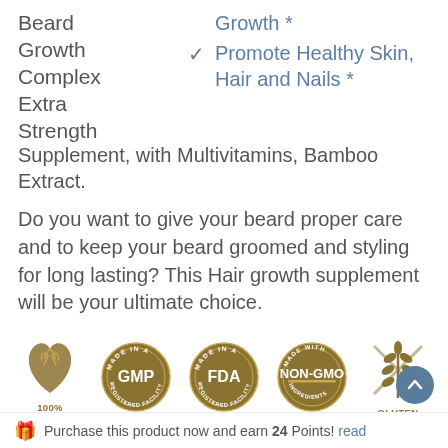Beard Growth Complex Extra Strength Supplement, with Multivitamins, Biotin, Bamboo Extract.
Growth *
Promote Healthy Skin, Hair and Nails *
Do you want to give your beard proper care and to keep your beard groomed and styling for long lasting? This Hair growth supplement will be your ultimate choice.
[Figure (illustration): Row of product certification badges: 100% Vegan (leaf heart icon), Made in a GMP Registered Facility (circular stamp), Made in a FDA Registered Facility (circular stamp), Made with Non-GMO Ingredients (circular stamp), Gluten (wheat/gluten free icon)]
Purchase this product now and earn 24 Points! read